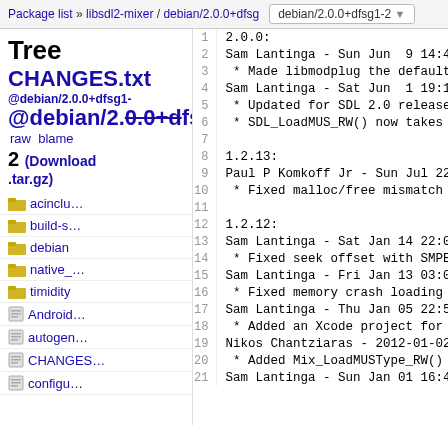Package list » libsdl2-mixer / debian/2.0.0+dfsg   debian/2.0.0+dfsg1-2
Tree  CHANGES.txt @debian/2.0.0+dfsg1-2 (Download .tar.gz)
acinclu…
build-s…
debian
native_…
timidity
Android…
autogen…
CHANGES…
configu…
| line | code |
| --- | --- |
| 1 | 2.0.0: |
| 2 | Sam Lantinga - Sun Jun  9 14:45:30 P |
| 3 |  * Made libmodplug the default MOD p |
| 4 | Sam Lantinga - Sat Jun  1 19:11:08 P |
| 5 |  * Updated for SDL 2.0 release |
| 6 |  * SDL_LoadMUS_RW() now takes an arg |
| 7 |  |
| 8 | 1.2.13: |
| 9 | Paul P Komkoff Jr - Sun Jul 22 16:12 |
| 10 |  * Fixed malloc/free mismatch in the |
| 11 |  |
| 12 | 1.2.12: |
| 13 | Sam Lantinga - Sat Jan 14 22:00:29 2 |
| 14 |  * Fixed seek offset with SMPEG (was |
| 15 | Sam Lantinga - Fri Jan 13 03:04:27 E |
| 16 |  * Fixed memory crash loading Ogg Vo |
| 17 | Sam Lantinga - Thu Jan 05 22:51:54 2 |
| 18 |  * Added an Xcode project for iOS |
| 19 | Nikos Chantziaras - 2012-01-02 17:37 |
| 20 |  * Added Mix_LoadMUSType_RW() so you |
| 21 | Sam Lantinga - Sun Jan 01 16:45:58 2 |